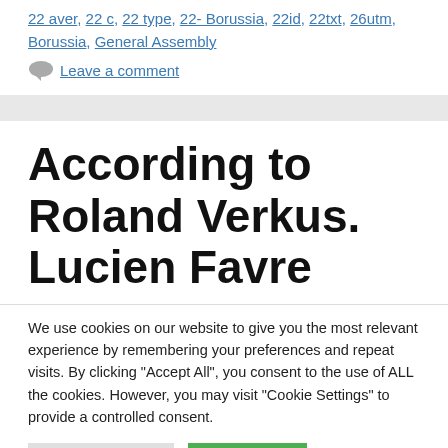22 aver, 22 c, 22 type, 22- Borussia, 22id, 22txt, 26utm, Borussia, General Assembly
Leave a comment
According to Roland Verkus. Lucien Favre
We use cookies on our website to give you the most relevant experience by remembering your preferences and repeat visits. By clicking "Accept All", you consent to the use of ALL the cookies. However, you may visit "Cookie Settings" to provide a controlled consent.